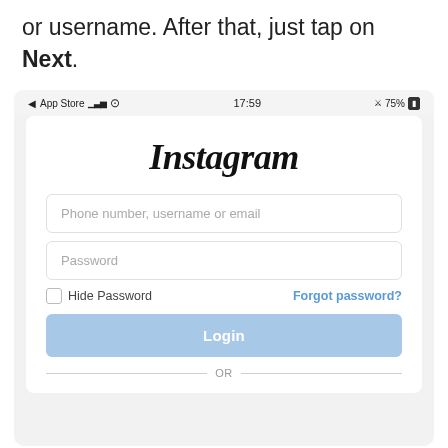or username. After that, just tap on Next.
[Figure (screenshot): Instagram mobile app login screen screenshot showing status bar with App Store, signal, WiFi, time 17:59, alarm and 75% battery, Instagram logo in cursive script, input fields for phone number/username/email and password, Hide Password checkbox, Forgot password? link, Login button, and OR divider at bottom.]